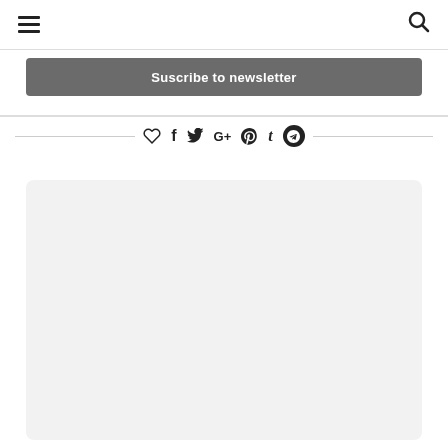hamburger menu | search icon
Suscribe to newsletter
[Figure (infographic): Social sharing icons row: heart, Facebook, Twitter, Google+, Pinterest, Tumblr, Telegram — with horizontal lines on either side]
[Figure (other): Large light grey rounded rectangle placeholder content area]